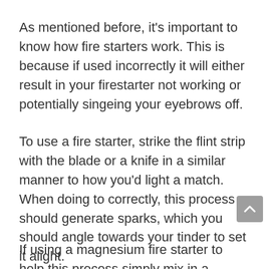As mentioned before, it's important to know how fire starters work. This is because if used incorrectly it will either result in your firestarter not working or potentially singeing your eyebrows off.
To use a fire starter, strike the flint strip with the blade or a knife in a similar manner to how you'd light a match. When doing to correctly, this process should generate sparks, which you should angle towards your tinder to set it alight.
If using a magnesium fire starter to help this process simply mix in a roughly an American quarter-sized pile of magnesium shavings with your tinder. When doing so, however, it's recommended